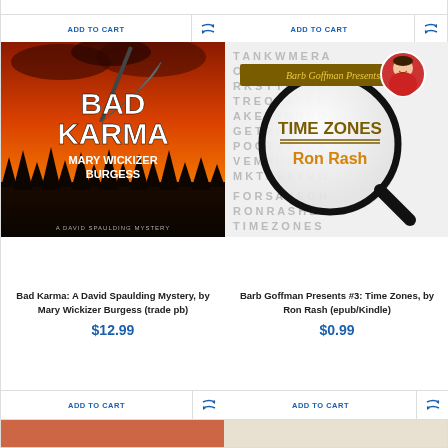ADD TO CART
ADD TO CART
[Figure (illustration): Book cover: Bad Karma: A David Spaulding Mystery by Mary Wickizer Burgess. Orange/red fiery background with dark trees silhouetted at bottom, scythe visible at top. White bold text reads BAD KARMA / MARY WICKIZER BURGESS.]
[Figure (illustration): Book cover: Barb Goffman Presents #3: Time Zones by Ron Rash. White/grey background with faint word-search letters, a magnifying glass in center with TIME ZONES / Ron Rash text inside, gold banner at top reading Barb Goffman Presents, circular author photo top right.]
Bad Karma: A David Spaulding Mystery, by Mary Wickizer Burgess (trade pb)
Barb Goffman Presents #3: Time Zones, by Ron Rash (epub/Kindle)
$12.99
$0.99
ADD TO CART
ADD TO CART